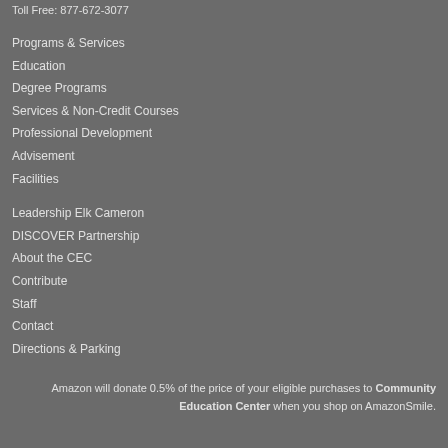Toll Free: 877-672-3077
Programs & Services
Education
Degree Programs
Services & Non-Credit Courses
Professional Development
Advisement
Facilities
Leadership Elk Cameron
DISCOVER Partnership
About the CEC
Contribute
Staff
Contact
Directions & Parking
Amazon will donate 0.5% of the price of your eligible purchases to Community Education Center when you shop on AmazonSmile.